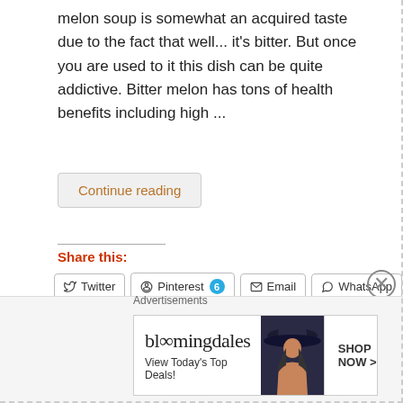melon soup is somewhat an acquired taste due to the fact that well... it's bitter. But once you are used to it this dish can be quite addictive. Bitter melon has tons of health benefits including high ...
Continue reading
Share this:
Twitter | Pinterest 6 | Email | WhatsApp | Reddit | Tumblr | More
Like this:
Advertisements
[Figure (illustration): Bloomingdale's advertisement banner: bloomingdales logo, View Today's Top Deals!, SHOP NOW > button, woman with hat silhouette]